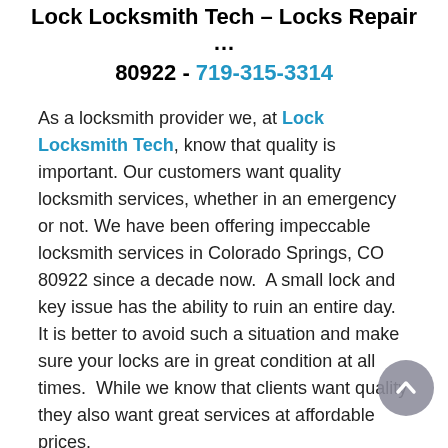Lock Locksmith Tech – Locks Repair … 80922 - 719-315-3314
As a locksmith provider we, at Lock Locksmith Tech, know that quality is important. Our customers want quality locksmith services, whether in an emergency or not. We have been offering impeccable locksmith services in Colorado Springs, CO 80922 since a decade now.  A small lock and key issue has the ability to ruin an entire day. It is better to avoid such a situation and make sure your locks are in great condition at all times.  While we know that clients want quality they also want great services at affordable prices.
Lock Locksmith Tech offer quality locksmith services at great prices not compromising on the response time and the skills and infrastructure used to resolve any issue. From basic issue like lock repair to the instant making of high security keys, we solve a wide range of locksmith…